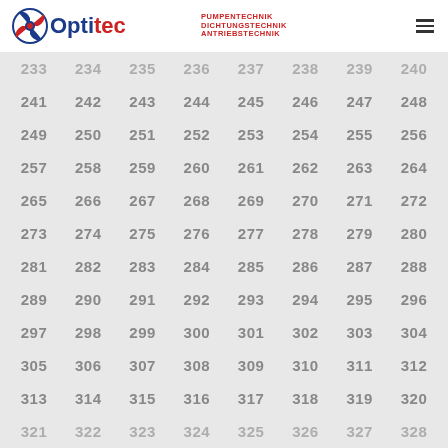Optitec – PUMPENTECHNIK DICHTUNGSTECHNIK ANTRIEBSTECHNIK
| 233 | 234 | 235 | 236 | 237 | 238 | 239 | 240 |
| 241 | 242 | 243 | 244 | 245 | 246 | 247 | 248 |
| 249 | 250 | 251 | 252 | 253 | 254 | 255 | 256 |
| 257 | 258 | 259 | 260 | 261 | 262 | 263 | 264 |
| 265 | 266 | 267 | 268 | 269 | 270 | 271 | 272 |
| 273 | 274 | 275 | 276 | 277 | 278 | 279 | 280 |
| 281 | 282 | 283 | 284 | 285 | 286 | 287 | 288 |
| 289 | 290 | 291 | 292 | 293 | 294 | 295 | 296 |
| 297 | 298 | 299 | 300 | 301 | 302 | 303 | 304 |
| 305 | 306 | 307 | 308 | 309 | 310 | 311 | 312 |
| 313 | 314 | 315 | 316 | 317 | 318 | 319 | 320 |
| 321 | 322 | 323 | 324 | 325 | 326 | 327 | 328 |